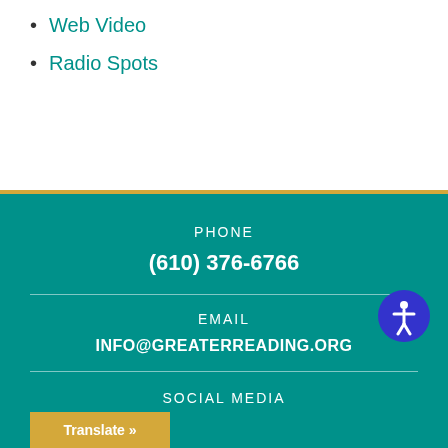Web Video
Radio Spots
PHONE
(610) 376-6766
EMAIL
INFO@GREATERREADING.ORG
SOCIAL MEDIA
Translate »